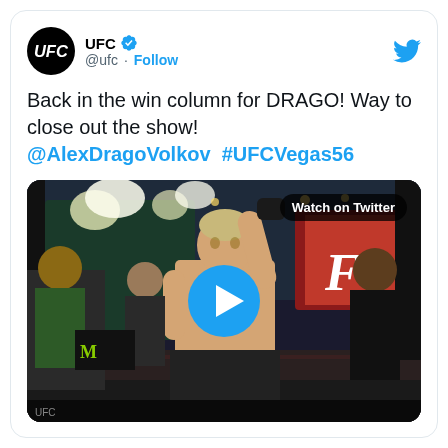[Figure (screenshot): UFC Twitter post showing a tweet from @ufc with text about Alex Drago Volkov winning at UFCVegas56, with a video thumbnail showing Volkov with his arm raised in victory]
UFC @ufc · Follow
Back in the win column for DRAGO! Way to close out the show! @AlexDragoVolkov #UFCVegas56
[Figure (photo): Video thumbnail showing Alexander Volkov shirtless with his arm raised in victory inside the UFC octagon, with referee, fans and event staff visible. A blue play button is overlaid in the center. 'Watch on Twitter' badge in top right.]